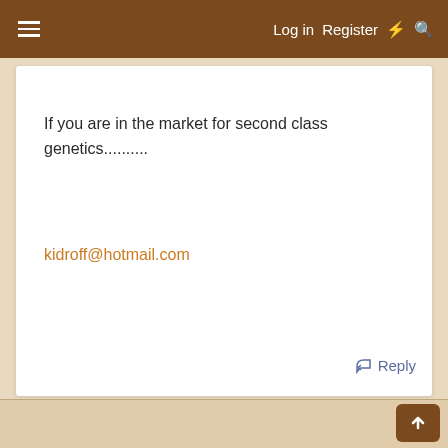Log in   Register
If you are in the market for second class genetics..........
kidroff@hotmail.com
Reply